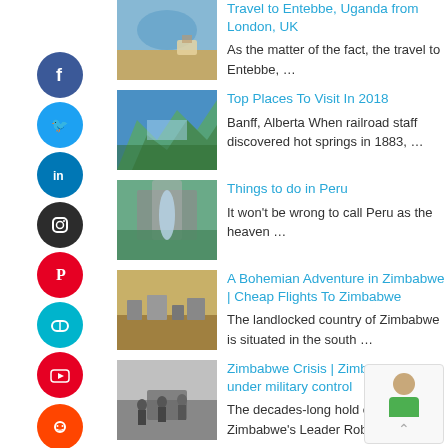Travel to Entebbe, Uganda from London, UK — As the matter of the fact, the travel to Entebbe, …
Top Places To Visit In 2018 — Banff, Alberta When railroad staff discovered hot springs in 1883, …
Things to do in Peru — It won't be wrong to call Peru as the heaven …
A Bohemian Adventure in Zimbabwe | Cheap Flights To Zimbabwe — The landlocked country of Zimbabwe is situated in the south …
Zimbabwe Crisis | Zimbabwe is under military control — The decades-long hold on energy of Zimbabwe's Leader Robert Mugabe …